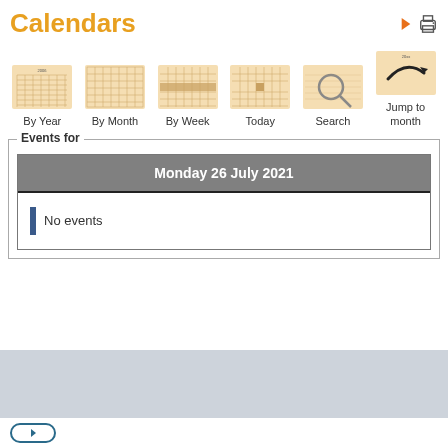Calendars
[Figure (screenshot): Six calendar view icons: By Year (yearly grid with 2006 label), By Month (monthly grid), By Week (weekly grid with highlighted row), Today (grid with highlighted cell), Search (magnifying glass over grid), Jump to month (arrow curve with 20xx label)]
By Year   By Month   By Week   Today   Search   Jump to month
Events for
Monday 26 July 2021
No events